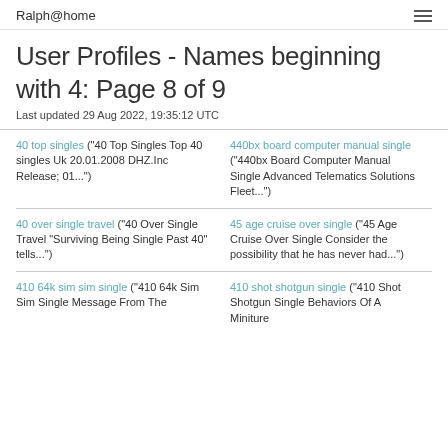Ralph@home
User Profiles - Names beginning with 4: Page 8 of 9
Last updated 29 Aug 2022, 19:35:12 UTC
40 top singles ("40 Top Singles Top 40 singles Uk 20.01.2008 DHZ.Inc Release; 01...")
440bx board computer manual single ("440bx Board Computer Manual Single Advanced Telematics Solutions Fleet...")
40 over single travel ("40 Over Single Travel "Surviving Being Single Past 40" tells...")
45 age cruise over single ("45 Age Cruise Over Single Consider the possibility that he has never had...")
410 64k sim sim single ("410 64k Sim Sim Single Message From The...
410 shot shotgun single ("410 Shot Shotgun Single Behaviors Of A Miniture...